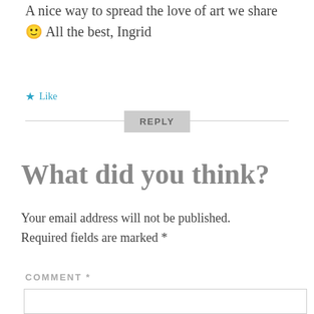A nice way to spread the love of art we share 🙂 All the best, Ingrid
★ Like
REPLY
What did you think?
Your email address will not be published. Required fields are marked *
COMMENT *